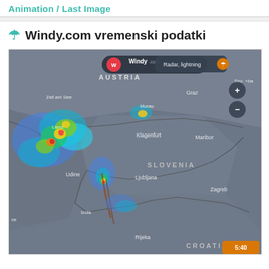Animation / Last Image
🌂 Windy.com vremenski podatki
[Figure (map): Windy.com radar and lightning map showing Austria, Slovenia, Croatia, and northern Italy with precipitation radar overlay (color-coded: blue/cyan for light rain, yellow/red for heavy precipitation). Visible city labels: Liezen, Zell am See, Murau, Graz, Szo+ba (Szombathely), Lienz, Klagenfurt, Maribor, Udine, Ljubljana, Zagreb, Izola, Rijeka, ce. Windy.com branding with 'Radar, lightning' label top right. Timestamp 5:40 bottom right. Zoom +/- controls visible.]